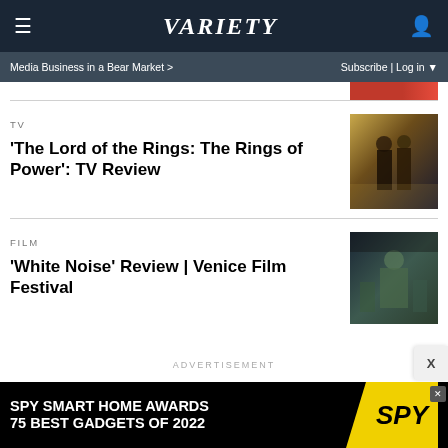VARIETY
Media Business in a Bear Market >
Subscribe | Log in
TV
'The Lord of the Rings: The Rings of Power': TV Review
[Figure (photo): Scene from The Lord of the Rings: The Rings of Power showing two figures in dark cloaks in an ornate golden setting]
FILM
'White Noise' Review | Venice Film Festival
[Figure (photo): Scene from White Noise showing a person in a green shirt with others in background]
ADVERTISEMENT
[Figure (other): SPY Smart Home Awards 75 Best Gadgets of 2022 advertisement banner]